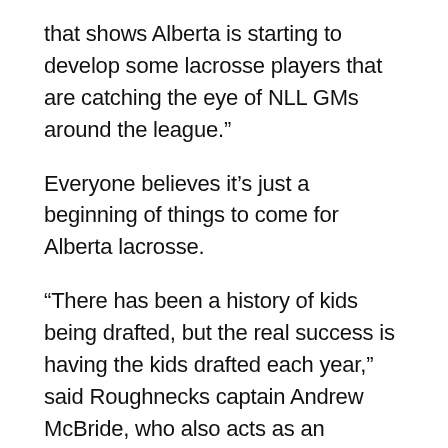that shows Alberta is starting to develop some lacrosse players that are catching the eye of NLL GMs around the league.”
Everyone believes it’s just a beginning of things to come for Alberta lacrosse.
“There has been a history of kids being drafted, but the real success is having the kids drafted each year,” said Roughnecks captain Andrew McBride, who also acts as an assistant coach with the junior A Raiders.
“What we are doing as coaches is making sure we have players selected every year and really get